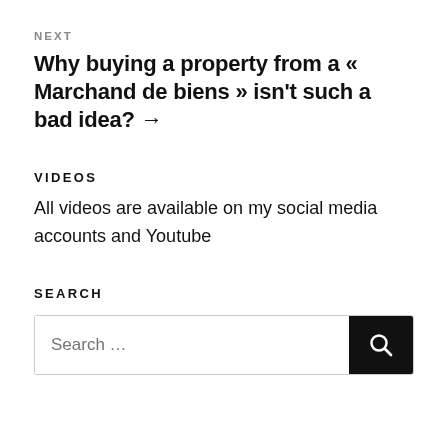NEXT
Why buying a property from a « Marchand de biens » isn't such a bad idea? →
VIDEOS
All videos are available on my social media accounts and Youtube
SEARCH